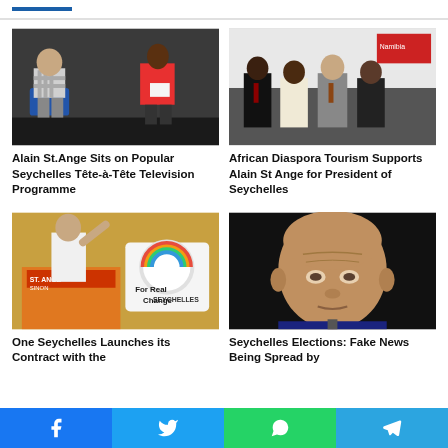[Figure (photo): Two people sitting on chairs on a stage – a bald man in a checkered shirt and a woman in a red top holding papers]
[Figure (photo): Group of four people standing together in formal attire in front of event banners including Namibia sign]
Alain St.Ange Sits on Popular Seychelles Tête-à-Tête Television Programme
African Diaspora Tourism Supports Alain St Ange for President of Seychelles
[Figure (photo): Man speaking at a podium with a Seychelles For Real Change campaign banner in the background]
[Figure (photo): Close-up portrait of a bald older man against a dark background]
One Seychelles Launches its Contract with the
Seychelles Elections: Fake News Being Spread by